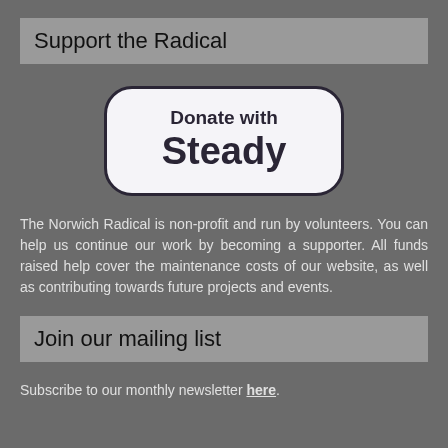Support the Radical
[Figure (other): Donate with Steady button — a rounded rectangle button with dark border on light background, text reading 'Donate with Steady']
The Norwich Radical is non-profit and run by volunteers. You can help us continue our work by becoming a supporter. All funds raised help cover the maintenance costs of our website, as well as contributing towards future projects and events.
Join our mailing list
Subscribe to our monthly newsletter here.